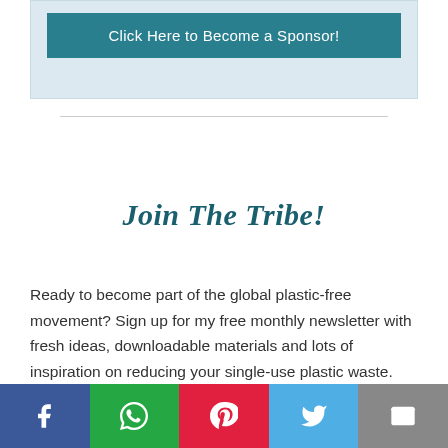[Figure (other): Teal button reading 'Click Here to Become a Sponsor!' on a light blue card background]
Join The Tribe!
Ready to become part of the global plastic-free movement? Sign up for my free monthly newsletter with fresh ideas, downloadable materials and lots of inspiration on reducing your single-use plastic waste.
[Figure (other): Social sharing bar with Facebook, WhatsApp, Pinterest, Twitter, and email buttons]